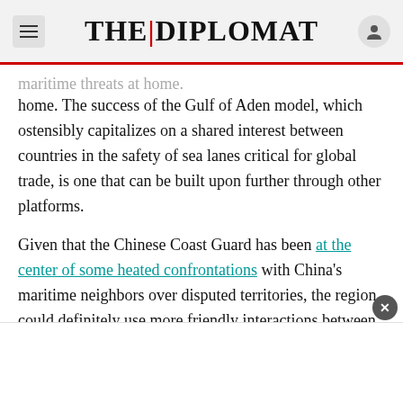THE DIPLOMAT
...maritime threats at home. The success of the Gulf of Aden model, which ostensibly capitalizes on a shared interest between countries in the safety of sea lanes critical for global trade, is one that can be built upon further through other platforms.
Given that the Chinese Coast Guard has been at the center of some heated confrontations with China's maritime neighbors over disputed territories, the region could definitely use more friendly interactions between maritime law enforcement agencies. Although in reality, in the East and South China Seas, the Coast Guard arguably serves as the